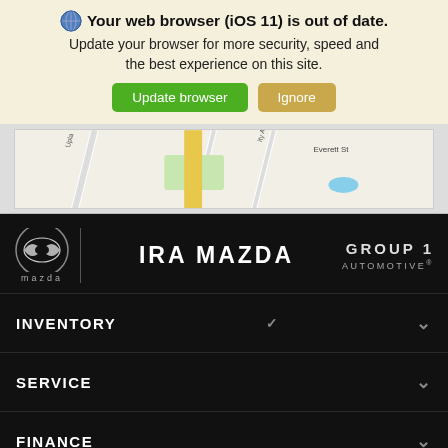Your web browser (iOS 11) is out of date. Update your browser for more security, speed and the best experience on this site.
[Figure (screenshot): Update browser (green button) and Ignore (tan/gold button) buttons]
[Figure (map): Partial street map showing Upland, University Ave, Everett St area]
[Figure (logo): Ira Mazda dealership logo with Mazda symbol, IRA MAZDA text, and GROUP 1 AUTOMOTIVE logo]
INVENTORY
SERVICE
FINANCE